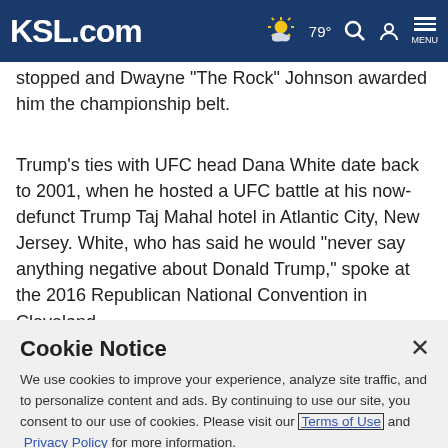KSL.com  79°  [search] [account] MENU
stopped and Dwayne "The Rock" Johnson awarded him the championship belt.
Trump's ties with UFC head Dana White date back to 2001, when he hosted a UFC battle at his now-defunct Trump Taj Mahal hotel in Atlantic City, New Jersey. White, who has said he would "never say anything negative about Donald Trump," spoke at the 2016 Republican National Convention in Cleveland.
Cookie Notice
We use cookies to improve your experience, analyze site traffic, and to personalize content and ads. By continuing to use our site, you consent to our use of cookies. Please visit our Terms of Use and  Privacy Policy for more information.
Continue